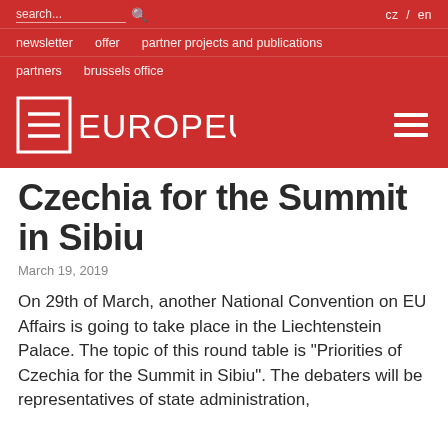search...  cz / en  newsletter  offer  partner projects and publications  partners  brussels office
[Figure (logo): EUROPEUM logo in white text on red background with hamburger menu icon]
Czechia for the Summit in Sibiu
March 19, 2019
On 29th of March, another National Convention on EU Affairs is going to take place in the Liechtenstein Palace. The topic of this round table is "Priorities of Czechia for the Summit in Sibiu". The debaters will be representatives of state administration,